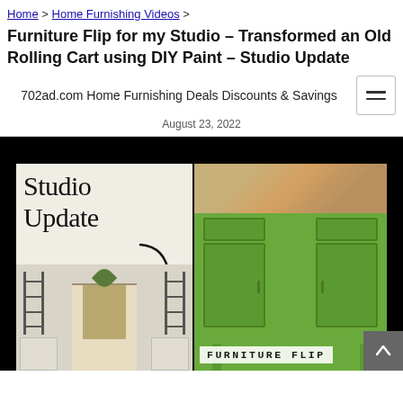Home > Home Furnishing Videos >
Furniture Flip for my Studio – Transformed an Old Rolling Cart using DIY Paint – Studio Update
702ad.com Home Furnishing Deals Discounts & Savings
August 23, 2022
[Figure (photo): Composite image with 'Studio Update' text and arrow on left panel showing white furniture/shelving display, and right panel showing a green painted furniture piece (rolling cart/island) with mosaic top. Bottom right has 'FURNITURE FLIP' label.]